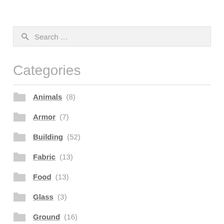Search …
Categories
Animals (8)
Armor (7)
Building (52)
Fabric (13)
Food (13)
Glass (3)
Ground (16)